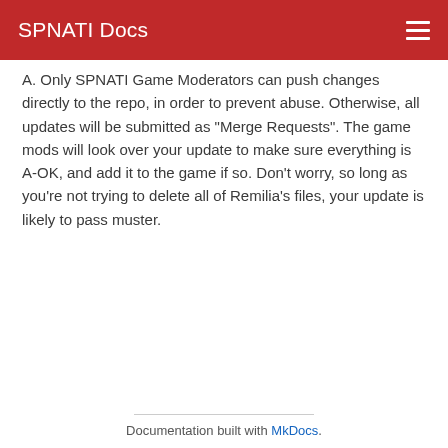SPNATI Docs
A. Only SPNATI Game Moderators can push changes directly to the repo, in order to prevent abuse. Otherwise, all updates will be submitted as "Merge Requests". The game mods will look over your update to make sure everything is A-OK, and add it to the game if so. Don't worry, so long as you're not trying to delete all of Remilia's files, your update is likely to pass muster.
Documentation built with MkDocs.